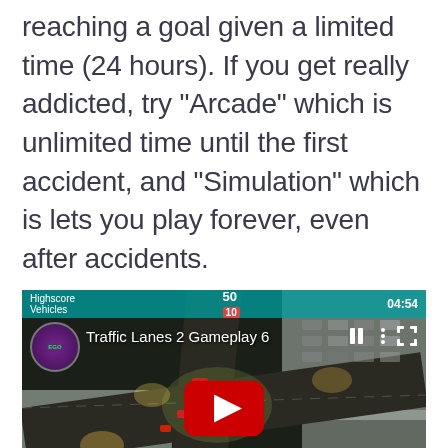reaching a goal given a limited time (24 hours). If you get really addicted, try "Arcade" which is unlimited time until the first accident, and "Simulation" which is lets you play forever, even after accidents.
[Figure (screenshot): YouTube video embed thumbnail showing 'Traffic Lanes 2 Gameplay 6' — an aerial/top-down view of a traffic intersection at night with cars and street lights, with a red YouTube play button overlay. Channel icon visible top-left, video title top-center, time 04:54 top-right, playback controls top-right.]